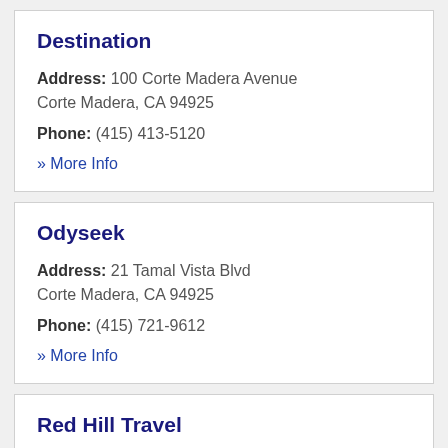Destination
Address: 100 Corte Madera Avenue Corte Madera, CA 94925
Phone: (415) 413-5120
» More Info
Odyseek
Address: 21 Tamal Vista Blvd Corte Madera, CA 94925
Phone: (415) 721-9612
» More Info
Red Hill Travel